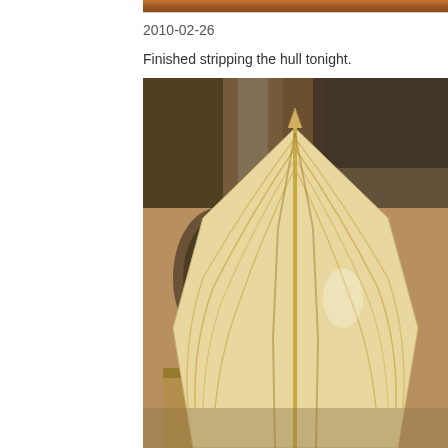[Figure (photo): Top portion of a photo showing warm brown/amber tones, partially cropped at the top of the page]
2010-02-26
Finished stripping the hull tonight.
[Figure (photo): Photo of the bottom of a wooden boat hull (strip-built canoe or kayak) showing the finished wood strips in a cream/yellow color, viewed from the bow end showing the V-shape of the hull. Workshop background with tools visible.]